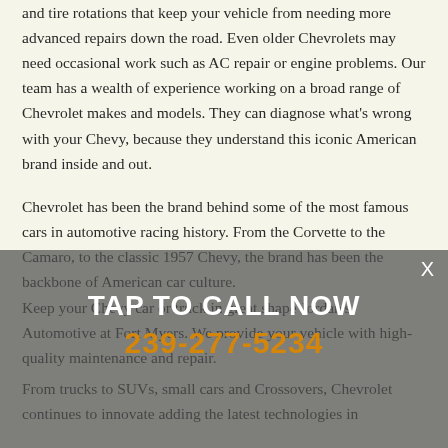and tire rotations that keep your vehicle from needing more advanced repairs down the road. Even older Chevrolets may need occasional work such as AC repair or engine problems. Our team has a wealth of experience working on a broad range of Chevrolet makes and models. They can diagnose what's wrong with your Chevy, because they understand this iconic American brand inside and out.
Chevrolet has been the brand behind some of the most famous cars in automotive racing history. From the Corvette to the Camaro, to the classic 1957 Chevy, the brand has been the backbone of American car culture.
Keep your Chevy car or truck in great shape Jordan's Automotive at Fort Myers. We provide your vehicle with high-quality maintenance and repair.
TAP TO CALL NOW
239-277-5234
From trucks to SUVs, small cars and Crossovers, Chevrolet continues to innovate adding the latest technologies in